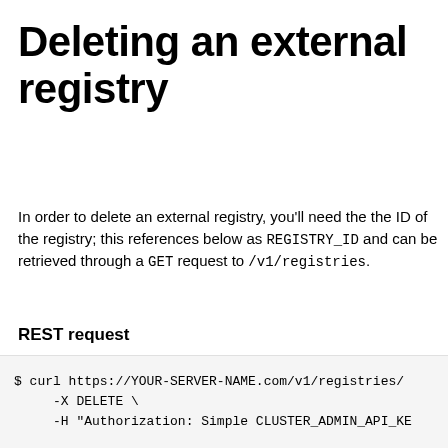Deleting an external registry
In order to delete an external registry, you’ll need the the ID of the registry; this references below as REGISTRY_ID and can be retrieved through a GET request to /v1/registries.
REST request
[Figure (screenshot): Code block showing: $ curl https://YOUR-SERVER-NAME.com/v1/registries/ ... -X DELETE \ -H "Authorization: Simple CLUSTER_ADMIN_API_KE...]
Topics
Search Docs